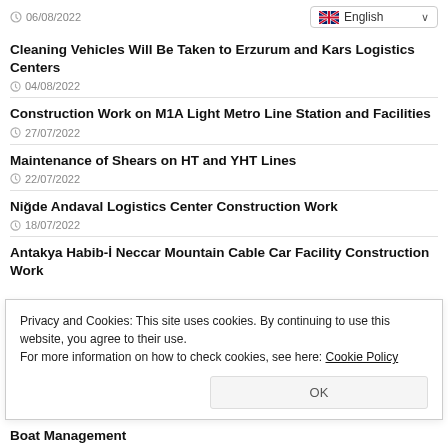06/08/2022
English
Cleaning Vehicles Will Be Taken to Erzurum and Kars Logistics Centers
04/08/2022
Construction Work on M1A Light Metro Line Station and Facilities
27/07/2022
Maintenance of Shears on HT and YHT Lines
22/07/2022
Niğde Andaval Logistics Center Construction Work
18/07/2022
Antakya Habib-İ Neccar Mountain Cable Car Facility Construction Work
Privacy and Cookies: This site uses cookies. By continuing to use this website, you agree to their use.
For more information on how to check cookies, see here: Cookie Policy
OK
Boat Management